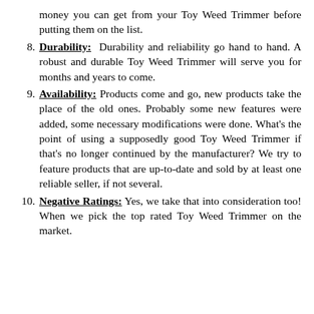(continued) money you can get from your Toy Weed Trimmer before putting them on the list.
8. Durability: Durability and reliability go hand to hand. A robust and durable Toy Weed Trimmer will serve you for months and years to come.
9. Availability: Products come and go, new products take the place of the old ones. Probably some new features were added, some necessary modifications were done. What's the point of using a supposedly good Toy Weed Trimmer if that's no longer continued by the manufacturer? We try to feature products that are up-to-date and sold by at least one reliable seller, if not several.
10. Negative Ratings: Yes, we take that into consideration too! When we pick the top rated Toy Weed Trimmer on the market.